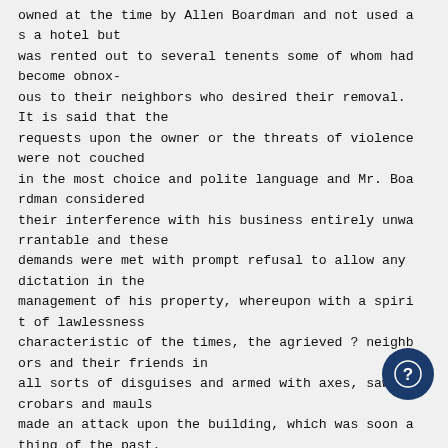owned at the time by Allen Boardman and not used as a hotel but was rented out to several tenents some of whom had become obnoxious to their neighbors who desired their removal. It is said that the requests upon the owner or the threats of violence were not couched in the most choice and polite language and Mr. Boardman considered their interference with his business entirely unwarrantable and these demands were met with prompt refusal to allow any dictation in the management of his property, whereupon with a spirit of lawlessness characteristic of the times, the agrieved ? neighbors and their friends in all sorts of disguises and armed with axes, saws, crobars and mauls made an attack upon the building, which was soon a thing of the past. The destruction was complete and in that porti f the premises occupied by the presumed cause of the raid riot one st